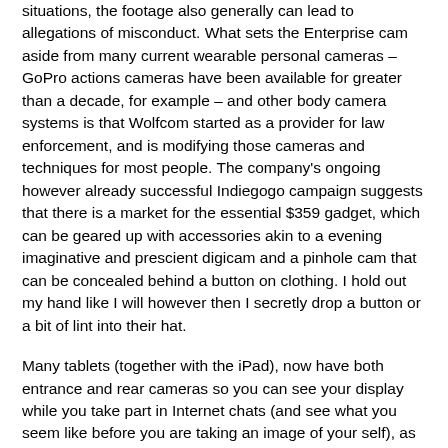situations, the footage also generally can lead to allegations of misconduct. What sets the Enterprise cam aside from many current wearable personal cameras – GoPro actions cameras have been available for greater than a decade, for example – and other body camera systems is that Wolfcom started as a provider for law enforcement, and is modifying those cameras and techniques for most people. The company's ongoing however already successful Indiegogo campaign suggests that there is a market for the essential $359 gadget, which can be geared up with accessories akin to a evening imaginative and prescient digicam and a pinhole cam that can be concealed behind a button on clothing. I hold out my hand like I will however then I secretly drop a button or a bit of lint into their hat.
Many tablets (together with the iPad), now have both entrance and rear cameras so you can see your display while you take part in Internet chats (and see what you seem like before you are taking an image of your self), as well as accessories like stands, wall mounts, distant controls, audio system and full exterior keyboards that can turn your pill into a media middle or a extra productive work station. You may see these most in wheat. If possible, look at just a few fashions subsequent to each other to see how their display screen brightness and resolutions examine. Tablet screens range in dimension from 7 inches to about 10 inches, and weights fluctuate from barely less than 1 pound to greater than 2.5 pounds,